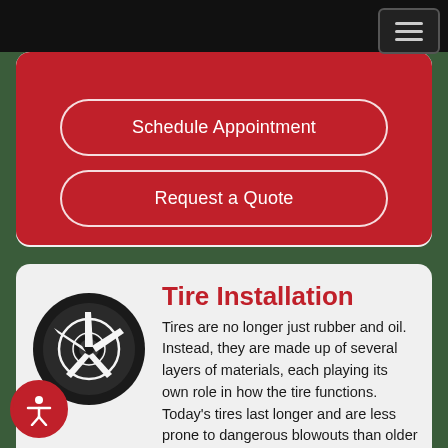Navigation header with hamburger menu
Schedule Appointment
Request a Quote
Tire Installation
Tires are no longer just rubber and oil. Instead, they are made up of several layers of materials, each playing its own role in how the tire functions. Today's tires last longer and are less prone to dangerous blowouts than older tires. They are also better at maintaining contact
[Figure (illustration): Black tire/wheel icon showing a five-spoke alloy wheel design]